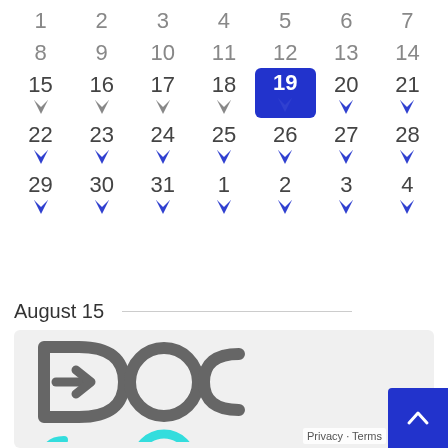[Figure (screenshot): Calendar view showing dates 1-31 with bookmark icons. Date 19 is highlighted with a blue background. Gray bookmark icons appear under dates 15-18, blue bookmark icons appear under dates 19-28 and 29-31 and 1-4.]
August 15
[Figure (logo): DocGo logo with gray DOC text featuring an arrow icon and cyan GO text with circular arrow icon]